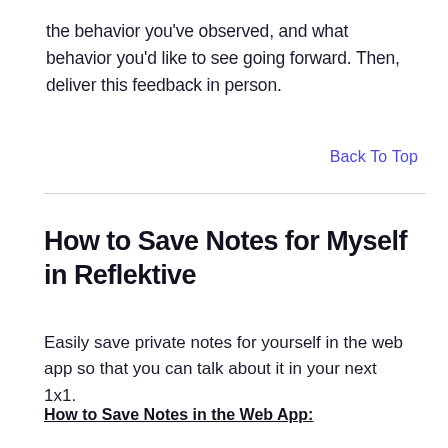the behavior you've observed, and what behavior you'd like to see going forward. Then, deliver this feedback in person.
Back To Top
How to Save Notes for Myself in Reflektive
Easily save private notes for yourself in the web app so that you can talk about it in your next 1x1.
How to Save Notes in the Web App: